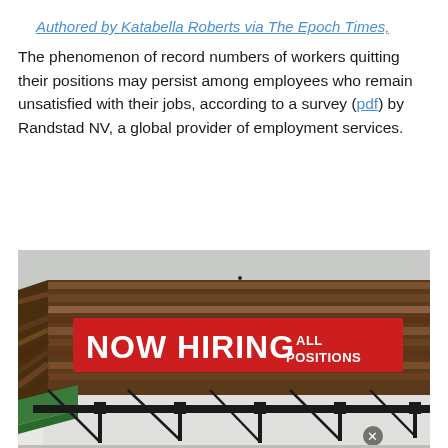Authored by Katabella Roberts via The Epoch Times,
The phenomenon of record numbers of workers quitting their positions may persist among employees who remain unsatisfied with their jobs, according to a survey (pdf) by Randstad NV, a global provider of employment services.
[Figure (photo): Photograph of the corner of a building with wood-paneled exterior and a large red banner sign reading 'NOW HIRING ALL POSITIONS'. The building has black metal awning supports and a green awning visible at the lower left. A small 'x' close button appears near the bottom right of the image.]